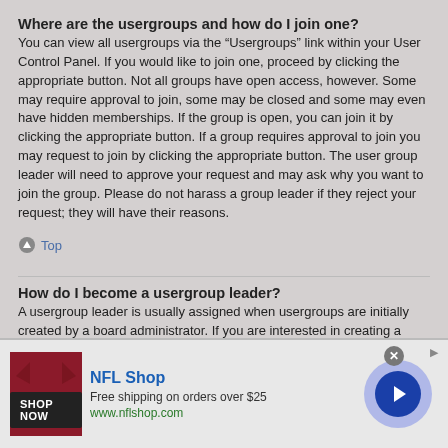Where are the usergroups and how do I join one?
You can view all usergroups via the “Usergroups” link within your User Control Panel. If you would like to join one, proceed by clicking the appropriate button. Not all groups have open access, however. Some may require approval to join, some may be closed and some may even have hidden memberships. If the group is open, you can join it by clicking the appropriate button. If a group requires approval to join you may request to join by clicking the appropriate button. The user group leader will need to approve your request and may ask why you want to join the group. Please do not harass a group leader if they reject your request; they will have their reasons.
↑ Top
How do I become a usergroup leader?
A usergroup leader is usually assigned when usergroups are initially created by a board administrator. If you are interested in creating a usergroup, your first point of contact should be an administrator; try sending a private message.
[Figure (infographic): NFL Shop advertisement banner with red t-shirt image, SHOP NOW button, NFL Shop title, free shipping offer text, www.nflshop.com URL, close button, and navigation arrow circle.]